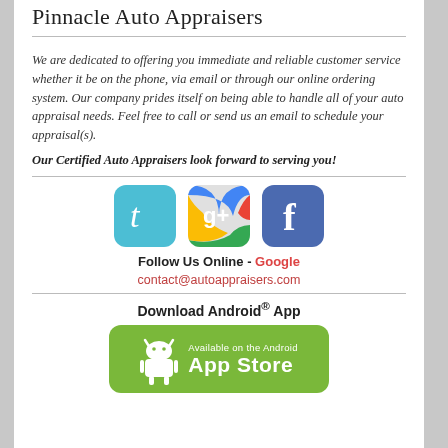Pinnacle Auto Appraisers
We are dedicated to offering you immediate and reliable customer service whether it be on the phone, via email or through our online ordering system. Our company prides itself on being able to handle all of your auto appraisal needs. Feel free to call or send us an email to schedule your appraisal(s).
Our Certified Auto Appraisers look forward to serving you!
[Figure (logo): Twitter, Google+, and Facebook social media icons side by side]
Follow Us Online - Google
contact@autoappraisers.com
Download Android® App
[Figure (logo): Available on the Android App Store badge button, green rounded rectangle]